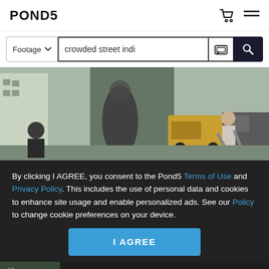POND5
[Figure (screenshot): Search bar with Footage dropdown, text input showing 'crowded street indi', image search icon, and search button]
[Figure (photo): Crowded street scene in India with people walking, vehicles including a yellow jeep, and urban buildings]
By clicking I AGREE, you consent to the Pond5 Terms of Use and Privacy Policy. This includes the use of personal data and cookies to enhance site usage and enable personalized ads. See our Policy to change cookie preferences on your device.
[Figure (screenshot): Bottom strip showing video thumbnail with 00: timecode, HD label, and $49 price tag]